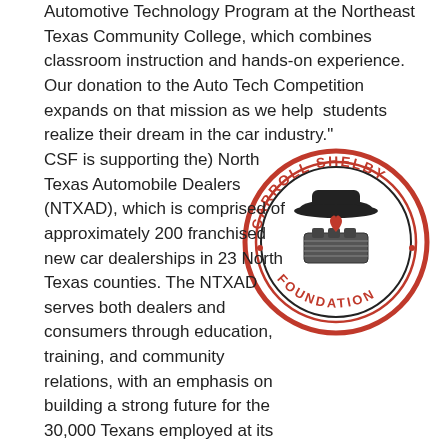Automotive Technology Program at the Northeast Texas Community College, which combines classroom instruction and hands-on experience. Our donation to the Auto Tech Competition expands on that mission as we help  students realize their dream in the car industry."
[Figure (logo): Carroll Shelby Foundation circular logo with black and red imagery including a cowboy hat, engine parts, and a heart, surrounded by 'CARROLL SHELBY' text on top and 'FOUNDATION' on the bottom with decorative dots.]
CSF is supporting the) North Texas Automobile Dealers (NTXAD), which is comprised of approximately 200 franchised new car dealerships in 23 North Texas counties. The NTXAD serves both dealers and consumers through education, training, and community relations, with an emphasis on building a strong future for the 30,000 Texans employed at its franchised dealerships and a rewarding shopping experience for their customers. The North Texas Auto Show at the Dallas Convention Center and the North Texas Auto Tech Competition in Fort Worth are two of the nation's premier events that are produced by NTXAD.